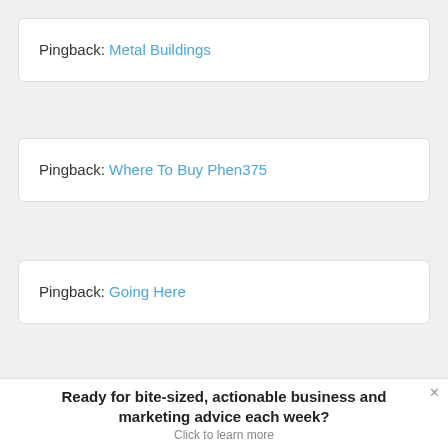Pingback: Metal Buildings
Pingback: Where To Buy Phen375
Pingback: Going Here
Pingback: Breast Implants
Ready for bite-sized, actionable business and marketing advice each week?
Click to learn more